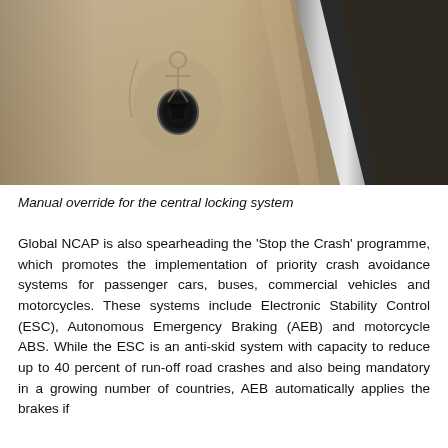[Figure (photo): Close-up photograph of a car interior door panel showing a manual override mechanism for the central locking system, with a circular lock slot and human figure icon engraved on a beige/tan leather-like panel, with a silver trim frame visible.]
Manual override for the central locking system
Global NCAP is also spearheading the 'Stop the Crash' programme, which promotes the implementation of priority crash avoidance systems for passenger cars, buses, commercial vehicles and motorcycles. These systems include Electronic Stability Control (ESC), Autonomous Emergency Braking (AEB) and motorcycle ABS. While the ESC is an anti-skid system with capacity to reduce up to 40 percent of run-off road crashes and also being mandatory in a growing number of countries, AEB automatically applies the brakes if